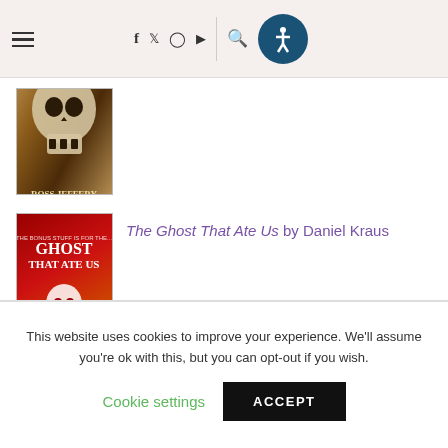Navigation bar with hamburger menu, social icons (f, Twitter, Instagram, YouTube), search icon, and accessibility button
[Figure (illustration): Book cover for a horror novel by Ross Jeffery featuring a skull design]
[Figure (illustration): Book cover for 'The Ghost That Ate Us' by Daniel Kraus featuring a ghost with fast food imagery on a red background]
The Ghost That Ate Us by Daniel Kraus
This website uses cookies to improve your experience. We'll assume you're ok with this, but you can opt-out if you wish.
Cookie settings   ACCEPT